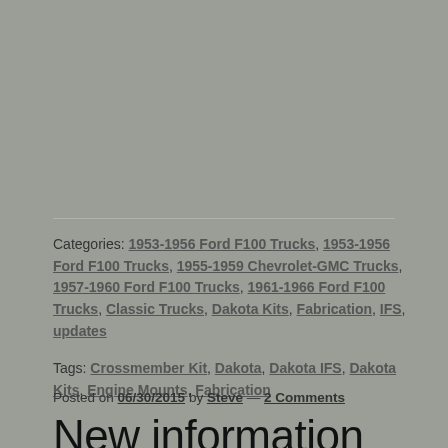Categories: 1953-1956 Ford F100 Trucks, 1953-1956 Ford F100 Trucks, 1955-1959 Chevrolet-GMC Trucks, 1957-1960 Ford F100 Trucks, 1961-1966 Ford F100 Trucks, Classic Trucks, Dakota Kits, Fabrication, IFS, updates
Tags: Crossmember Kit, Dakota, Dakota IFS, Dakota Kits, Engine Mounts, Fabrication
Posted on 06/30/2015 by Steve — 2 Comments
New information regarding springs and